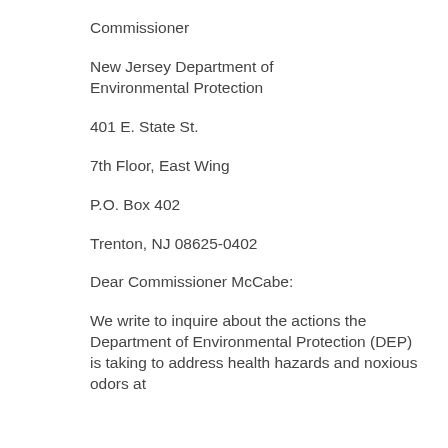Commissioner
New Jersey Department of Environmental Protection
401 E. State St.
7th Floor, East Wing
P.O. Box 402
Trenton, NJ 08625-0402
Dear Commissioner McCabe:
We write to inquire about the actions the Department of Environmental Protection (DEP) is taking to address health hazards and noxious odors at